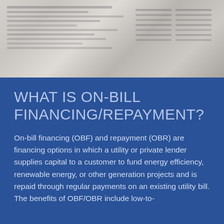[Figure (photo): Close-up photograph of document pages with rows of text/data, appearing as a financial or tabular document viewed at an angle, in grayscale tones.]
WHAT IS ON-BILL FINANCING/REPAYMENT?
On-bill financing (OBF) and repayment (OBR) are financing options in which a utility or private lender supplies capital to a customer to fund energy efficiency, renewable energy, or other generation projects and is repaid through regular payments on an existing utility bill. The benefits of OBF/OBR include low-to-